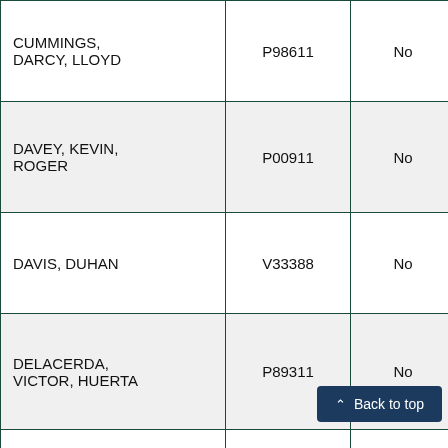| Name | ID | Status | Location |
| --- | --- | --- | --- |
| CUMMINGS, DARCY, LLOYD | P98611 | No | San |
| DAVEY, KEVIN, ROGER | P00911 | No | San |
| DAVIS, DUHAN | V33388 | No | Los |
| DELACERDA, VICTOR, HUERTA | P89311 | No | Sant |
| DELANEY, PATRICK, TIMOTHY | T16198 |  |  |